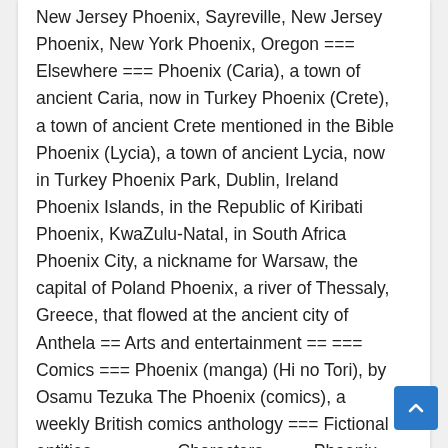New Jersey Phoenix, Sayreville, New Jersey Phoenix, New York Phoenix, Oregon === Elsewhere === Phoenix (Caria), a town of ancient Caria, now in Turkey Phoenix (Crete), a town of ancient Crete mentioned in the Bible Phoenix (Lycia), a town of ancient Lycia, now in Turkey Phoenix Park, Dublin, Ireland Phoenix Islands, in the Republic of Kiribati Phoenix, KwaZulu-Natal, in South Africa Phoenix City, a nickname for Warsaw, the capital of Poland Phoenix, a river of Thessaly, Greece, that flowed at the ancient city of Anthela == Arts and entertainment == === Comics === Phoenix (manga) (Hi no Tori), by Osamu Tezuka The Phoenix (comics), a weekly British comics anthology === Fictional entities === ==== Characters ==== Phoenix (comics), alias